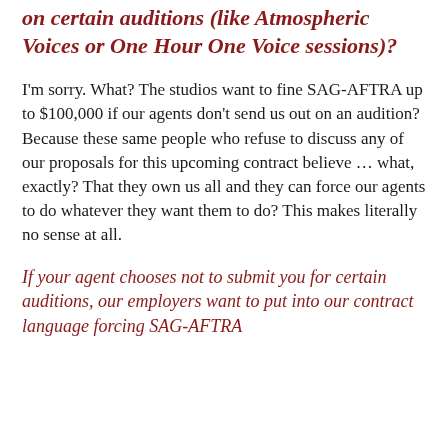on certain auditions (like Atmospheric Voices or One Hour One Voice sessions)?
I'm sorry. What? The studios want to fine SAG-AFTRA up to $100,000 if our agents don't send us out on an audition? Because these same people who refuse to discuss any of our proposals for this upcoming contract believe ... what, exactly? That they own us all and they can force our agents to do whatever they want them to do? This makes literally no sense at all.
If your agent chooses not to submit you for certain auditions, our employers want to put into our contract language forcing SAG-AFTRA to...